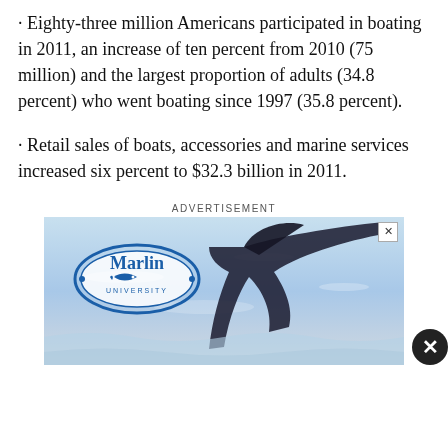· Eighty-three million Americans participated in boating in 2011, an increase of ten percent from 2010 (75 million) and the largest proportion of adults (34.8 percent) who went boating since 1997 (35.8 percent).
· Retail sales of boats, accessories and marine services increased six percent to $32.3 billion in 2011.
ADVERTISEMENT
[Figure (photo): Marlin University advertisement banner showing Marlin University logo with a marlin fish graphic over a water/ocean background with close button]